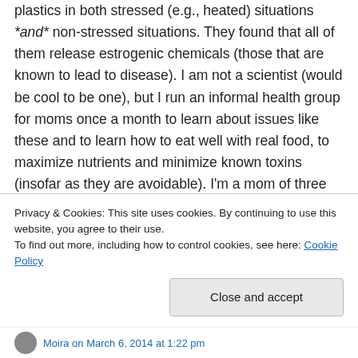plastics in both stressed (e.g., heated) situations *and* non-stressed situations. They found that all of them release estrogenic chemicals (those that are known to lead to disease). I am not a scientist (would be cool to be one), but I run an informal health group for moms once a month to learn about issues like these and to learn how to eat well with real food, to maximize nutrients and minimize known toxins (insofar as they are avoidable). I'm a mom of three little kids, and I'm still learning. I hope this helps. =)
Privacy & Cookies: This site uses cookies. By continuing to use this website, you agree to their use. To find out more, including how to control cookies, see here: Cookie Policy